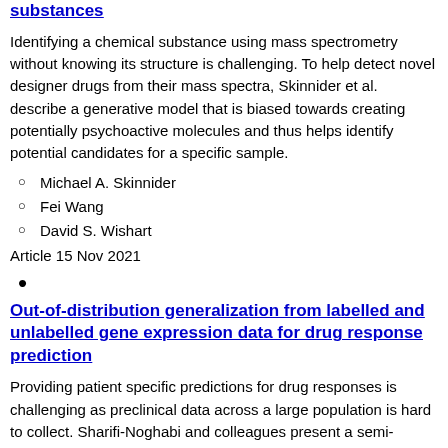substances
Identifying a chemical substance using mass spectrometry without knowing its structure is challenging. To help detect novel designer drugs from their mass spectra, Skinnider et al. describe a generative model that is biased towards creating potentially psychoactive molecules and thus helps identify potential candidates for a specific sample.
Michael A. Skinnider
Fei Wang
David S. Wishart
Article 15 Nov 2021
•
Out-of-distribution generalization from labelled and unlabelled gene expression data for drug response prediction
Providing patient specific predictions for drug responses is challenging as preclinical data across a large population is hard to collect. Sharifi-Noghabi and colleagues present a semi-supervised method to predict drug response from limited data that can generalize successfully to different the...